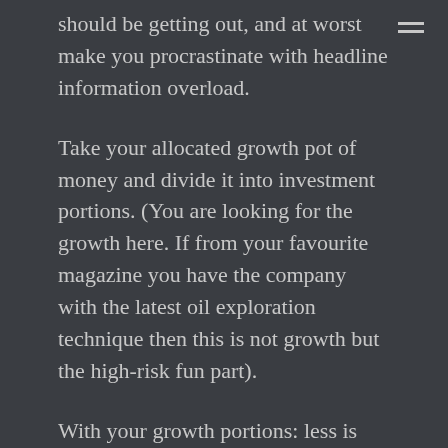should be getting out, and at worst make you procrastinate with headline information overload.
Take your allocated growth pot of money and divide it into investment portions. (You are looking for the growth here. If from your favourite magazine you have the company with the latest oil exploration technique then this is not growth but the high-risk fun part).
With your growth portions: less is more. Look for reliable companies that are in areas that you think will continue to grow. One of my parts would be an index tracker of the FTSE 100 and S&P 500 (e-mini if I could get it). I would also save one of these portions to put into gold but not until mid-February. The same timing for an oil or